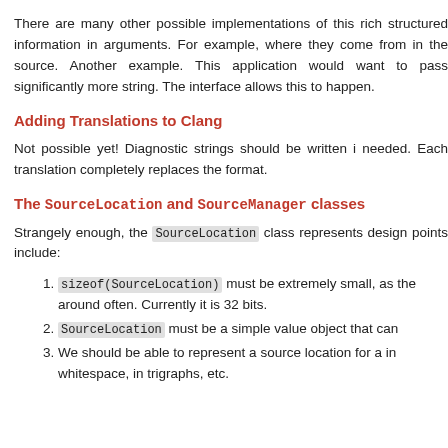There are many other possible implementations of this rich structured information in arguments. For example, where they come from in the source. Another example. This application would want to pass significantly more string. The interface allows this to happen.
Adding Translations to Clang
Not possible yet! Diagnostic strings should be written i needed. Each translation completely replaces the format.
The SourceLocation and SourceManager classes
Strangely enough, the SourceLocation class represents design points include:
sizeof(SourceLocation) must be extremely small, as the around often. Currently it is 32 bits.
SourceLocation must be a simple value object that can
We should be able to represent a source location for a in whitespace, in trigraphs, etc.